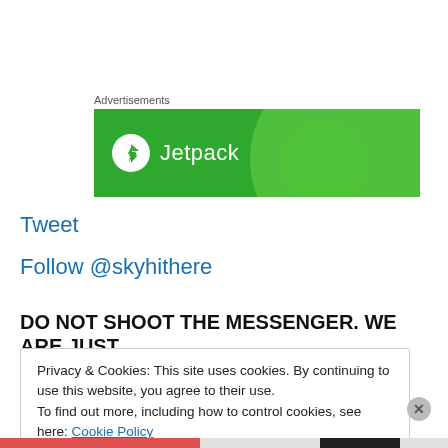[Figure (illustration): Jetpack advertisement banner with green background, lightning bolt circle icon and 'Jetpack' text in white]
Tweet
Follow @skyhithere
DO NOT SHOOT THE MESSENGER. WE ARE JUST
Privacy & Cookies: This site uses cookies. By continuing to use this website, you agree to their use.
To find out more, including how to control cookies, see here: Cookie Policy